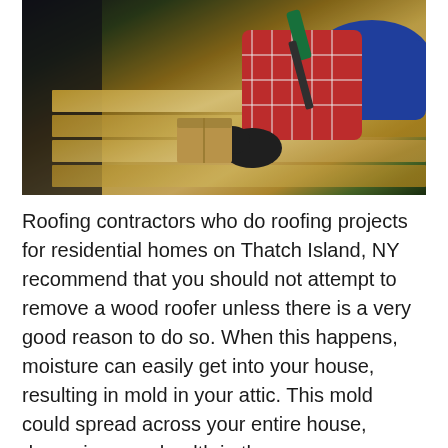[Figure (photo): A worker wearing a plaid shirt, blue sleeves, and black gloves using a power drill on wooden planks on a rooftop. A cardboard box is visible nearby.]
Roofing contractors who do roofing projects for residential homes on Thatch Island, NY recommend that you should not attempt to remove a wood roofer unless there is a very good reason to do so. When this happens, moisture can easily get into your house, resulting in mold in your attic. This mold could spread across your entire house, damaging your health in the process.
For any roofing projects including repairing or replacing a roof, you need to ensure that you always get not only a quality roofing contractor and the top